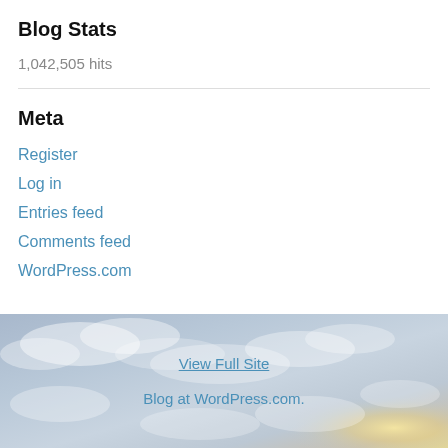Blog Stats
1,042,505 hits
Meta
Register
Log in
Entries feed
Comments feed
WordPress.com
[Figure (photo): Sky with clouds background image used as footer]
View Full Site
Blog at WordPress.com.